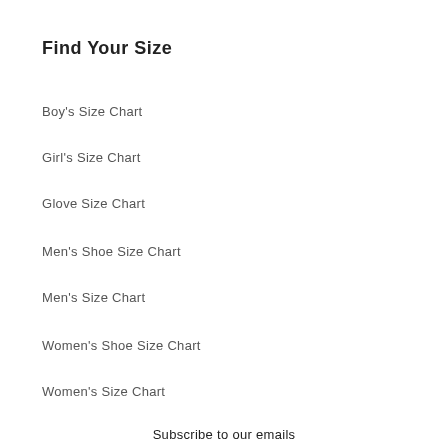Find Your Size
Boy's Size Chart
Girl's Size Chart
Glove Size Chart
Men's Shoe Size Chart
Men's Size Chart
Women's Shoe Size Chart
Women's Size Chart
Subscribe to our emails